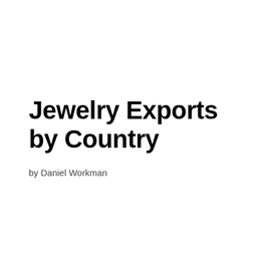Jewelry Exports by Country
by Daniel Workman